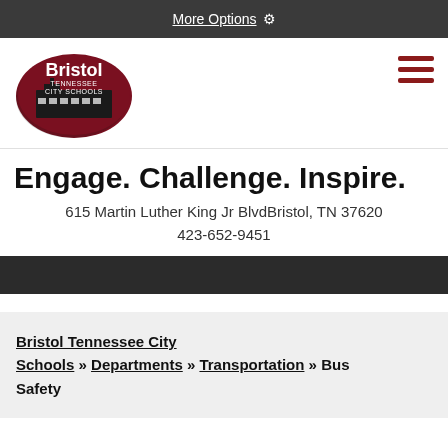More Options ⚙
[Figure (logo): Bristol Tennessee City Schools oval logo with school building graphic in dark red and black]
Engage. Challenge. Inspire.
615 Martin Luther King Jr BlvdBristol, TN 37620
423-652-9451
Bristol Tennessee City Schools » Departments » Transportation » Bus Safety
Bus Safety